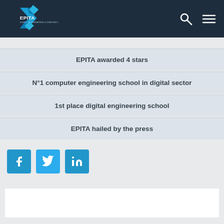EPITA
EPITA awarded 4 stars
N°1 computer engineering school in digital sector
1st place digital engineering school
EPITA hailed by the press
[Figure (logo): Social media icons: Facebook, Twitter, LinkedIn]